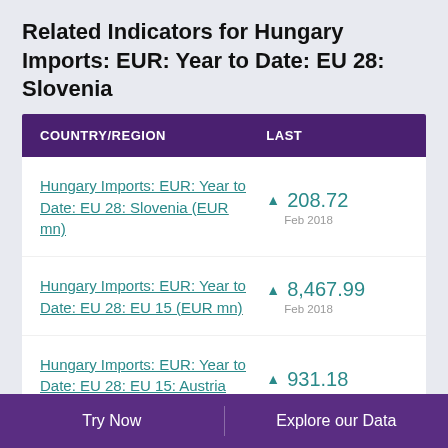Related Indicators for Hungary Imports: EUR: Year to Date: EU 28: Slovenia
| COUNTRY/REGION | LAST |
| --- | --- |
| Hungary Imports: EUR: Year to Date: EU 28: Slovenia (EUR mn) | ▲ 208.72
Feb 2018 |
| Hungary Imports: EUR: Year to Date: EU 28: EU 15 (EUR mn) | ▲ 8,467.99
Feb 2018 |
| Hungary Imports: EUR: Year to Date: EU 28: EU 15: Austria (EUR mn) | ▲ 931.18
Feb 2018 |
Try Now    Explore our Data